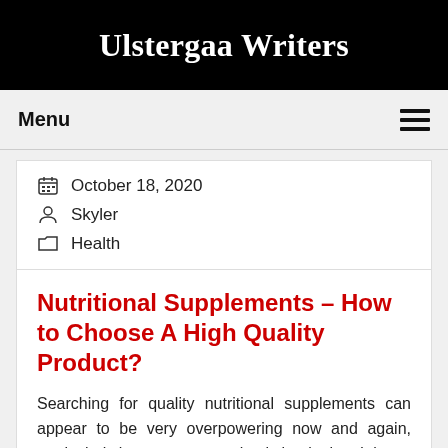Ulstergaa Writers
Menu
October 18, 2020
Skyler
Health
Nutritional Supplements - How to Choose A High Quality Product?
Searching for quality nutritional supplements can appear to be very overpowering now and again, particularly in case you are simply beginning. It is